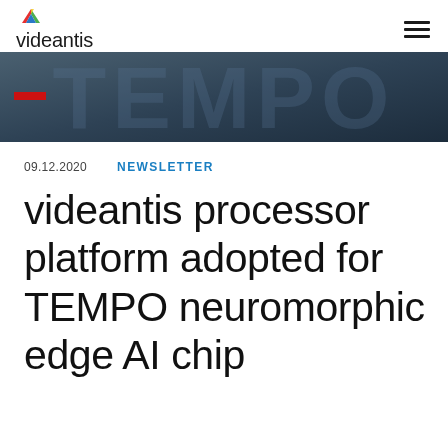videantis
[Figure (illustration): Dark blue-gray banner with large semi-transparent TEMPO text and a small red bar on the left]
09.12.2020    NEWSLETTER
videantis processor platform adopted for TEMPO neuromorphic edge AI chip